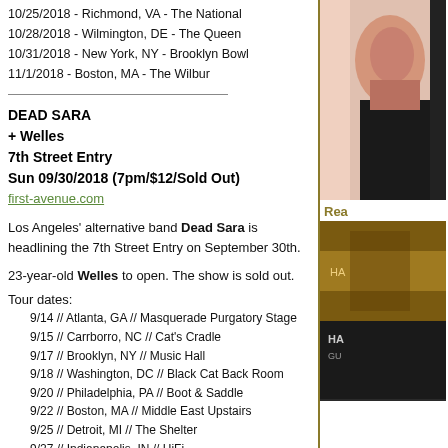10/25/2018 - Richmond, VA - The National
10/28/2018 - Wilmington, DE - The Queen
10/31/2018 - New York, NY - Brooklyn Bowl
11/1/2018 - Boston, MA - The Wilbur
DEAD SARA
+ Welles
7th Street Entry
Sun 09/30/2018 (7pm/$12/Sold Out)
first-avenue.com
Los Angeles' alternative band Dead Sara is headlining the 7th Street Entry on September 30th.
23-year-old Welles to open. The show is sold out.
Tour dates:
9/14 // Atlanta, GA // Masquerade Purgatory Stage
9/15 // Carrborro, NC // Cat's Cradle
9/17 // Brooklyn, NY // Music Hall
9/18 // Washington, DC // Black Cat Back Room
9/20 // Philadelphia, PA // Boot & Saddle
9/22 // Boston, MA // Middle East Upstairs
9/25 // Detroit, MI // The Shelter
9/27 // Indianapolis, IN // HiFi
9/28 // Columbus, OH // The Basement
9/29 // Chicago, IL // Beat Kitchen
9/30 // Minneapolis, MN // 7th Street Entry
10/2 // Denver, CO // Moon Room
[Figure (photo): Photo of performer on right side panel]
Rea
[Figure (photo): Thumbnail image - golden/brown toned]
[Figure (photo): Thumbnail image - dark with text HA]